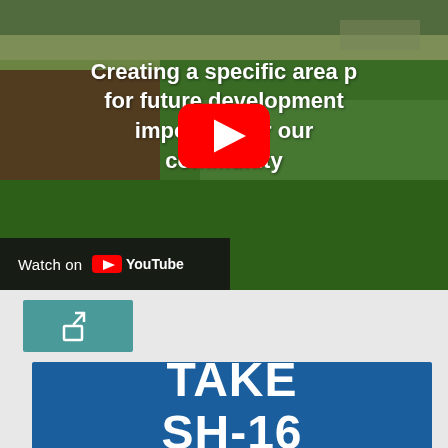[Figure (screenshot): YouTube video thumbnail showing aerial view of farmland/fields with white bold text overlay reading 'Creating a specific area p... for future de...lopment important for our community'. A red YouTube play button is centered. A black bar at the bottom left shows 'Watch on YouTube'.]
[Figure (screenshot): Teal/green share button icon (arrow/share symbol) on a light gray background.]
[Figure (infographic): Blue banner with white bold text reading 'TAKE SH-16'.]